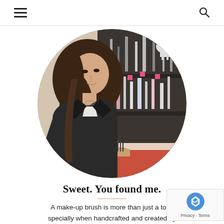Navigation header with hamburger menu and search icon
[Figure (photo): A woman with long dark wavy hair wearing a black leather jacket, standing in a makeup/beauty store surrounded by shelves of makeup brushes, nail polishes, and cosmetics. The photo is cropped in a circle.]
Sweet. You found me.
A make-up brush is more than just a tool, specially when handcrafted and created by